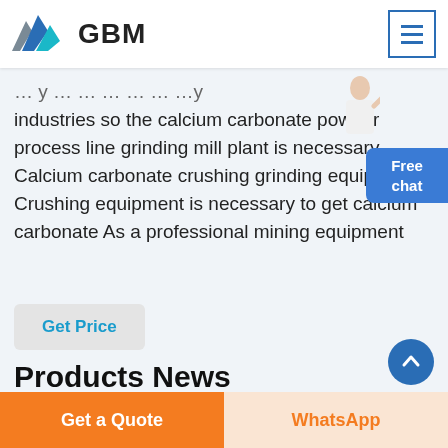[Figure (logo): GBM company logo with blue/grey mountain/arrow shapes and bold 'GBM' text]
industries so the calcium carbonate powder process line grinding mill plant is necessary Calcium carbonate crushing grinding equipment Crushing equipment is necessary to get calcium carbonate As a professional mining equipment
Get Price
Products News
Craigslist Mini Milling Machine
Get a Quote
WhatsApp